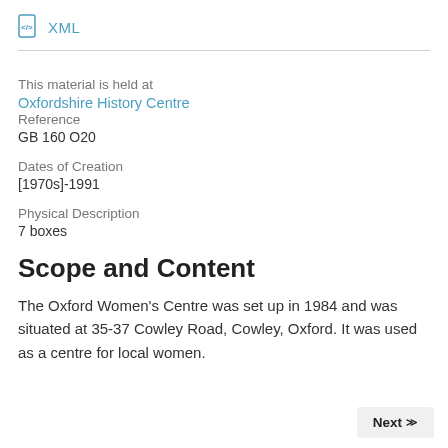XML
This material is held at
Oxfordshire History Centre
Reference
GB 160 O20
Dates of Creation
[1970s]-1991
Physical Description
7 boxes
Scope and Content
The Oxford Women's Centre was set up in 1984 and was situated at 35-37 Cowley Road, Cowley, Oxford. It was used as a centre for local women.